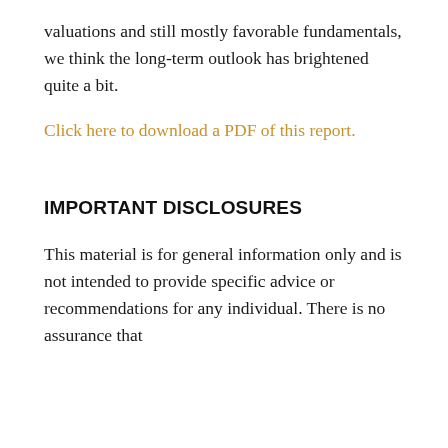valuations and still mostly favorable fundamentals, we think the long-term outlook has brightened quite a bit.
Click here to download a PDF of this report.
IMPORTANT DISCLOSURES
This material is for general information only and is not intended to provide specific advice or recommendations for any individual. There is no assurance that